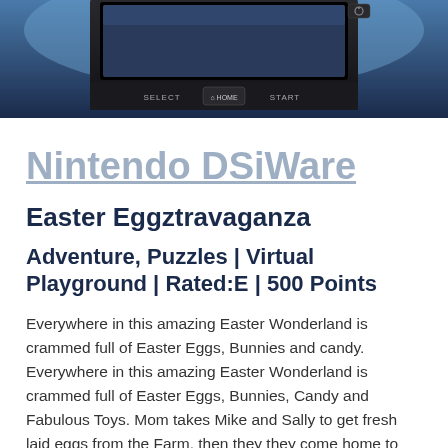[Figure (photo): Photo of a Nintendo DSi handheld gaming device showing the top portion with SELECT, HOME, and START buttons visible against a blue/dark background]
Nintendo DSiWare
Easter Eggztravaganza
Adventure, Puzzles | Virtual Playground | Rated:E | 500 Points
Everywhere in this amazing Easter Wonderland is crammed full of Easter Eggs, Bunnies and candy. Everywhere in this amazing Easter Wonderland is crammed full of Easter Eggs, Bunnies, Candy and Fabulous Toys. Mom takes Mike and Sally to get fresh laid eggs from the Farm, then they they come home to